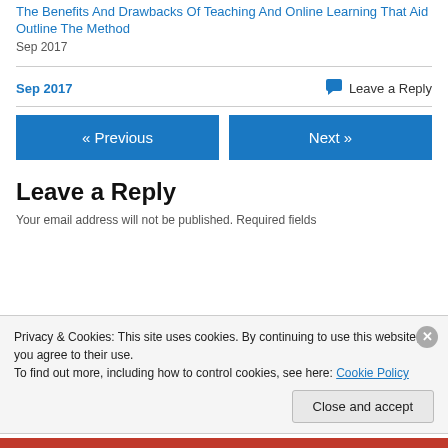The Benefits And Drawbacks Of Teaching And Online Learning That Aid Outline The Method
Sep 2017
Sep 2017
Leave a Reply
« Previous
Next »
Leave a Reply
Your email address will not be published. Required fields
Privacy & Cookies: This site uses cookies. By continuing to use this website, you agree to their use.
To find out more, including how to control cookies, see here: Cookie Policy
Close and accept